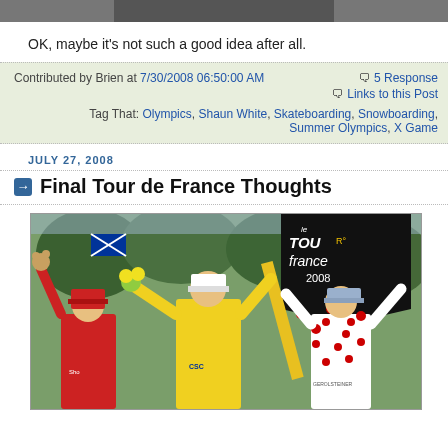[Figure (photo): Partial view of a photo at top of page, cropped]
OK, maybe it's not such a good idea after all.
Contributed by Brien at 7/30/2008 06:50:00 AM     5 Responses
Links to this Post
Tag That: Olympics, Shaun White, Skateboarding, Snowboarding, Summer Olympics, X Games
JULY 27, 2008
Final Tour de France Thoughts
[Figure (photo): Tour de France 2008 podium photo showing three cyclists celebrating, center rider in yellow jersey with arms raised, holding flower bouquet, flanked by two others. A large Tour de France 2008 banner/sign visible in background along with trees and an Australian flag.]